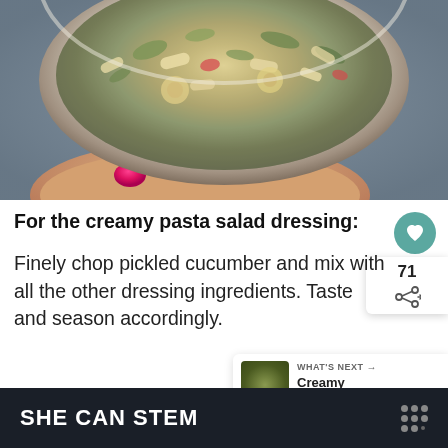[Figure (photo): A hand with hot pink/magenta nail polish holding a white bowl filled with creamy pasta salad containing tortellini, penne, green herbs, red peppers, and other colorful vegetables, on a blue-grey background.]
For the creamy pasta salad dressing:
Finely chop pickled cucumber and mix with all the other dressing ingredients. Taste and season accordingly.
SHE CAN STEM